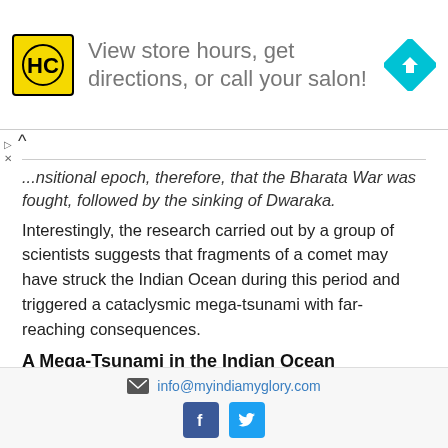[Figure (other): Advertisement banner for HC salon with yellow HC logo and blue arrow direction sign. Text reads: View store hours, get directions, or call your salon!]
...nsitional epoch, therefore, that the Bharata War was fought, followed by the sinking of Dwaraka. Interestingly, the research carried out by a group of scientists suggests that fragments of a comet may have struck the Indian Ocean during this period and triggered a cataclysmic mega-tsunami with far-reaching consequences.
A Mega-Tsunami in the Indian Ocean
The Holocene Impact Working group is a group of six
info@myindiamyglory.com